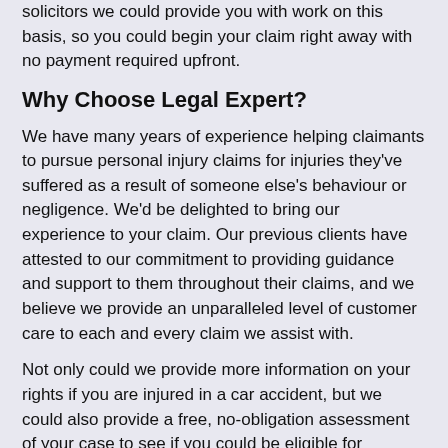solicitors we could provide you with work on this basis, so you could begin your claim right away with no payment required upfront.
Why Choose Legal Expert?
We have many years of experience helping claimants to pursue personal injury claims for injuries they've suffered as a result of someone else's behaviour or negligence. We'd be delighted to bring our experience to your claim. Our previous clients have attested to our commitment to providing guidance and support to them throughout their claims, and we believe we provide an unparalleled level of customer care to each and every claim we assist with.
Not only could we provide more information on your rights if you are injured in a car accident, but we could also provide a free, no-obligation assessment of your case to see if you could be eligible for compensation. If we think that you could benefit from the assistance of a personal injury solicitor, we could provide one to you. We can also advise on how to handle car insurance in the aftermath of an accident.